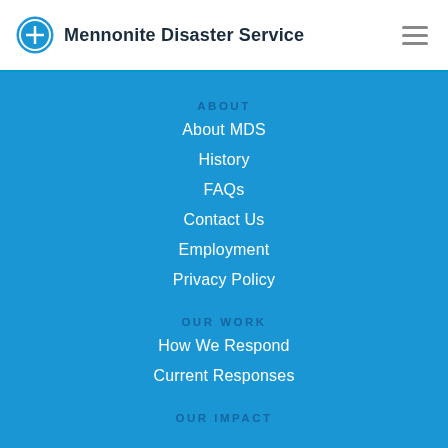Mennonite Disaster Service
ABOUT
About MDS
History
FAQs
Contact Us
Employment
Privacy Policy
OUR WORK
How We Respond
Current Responses
OUR IMPACT